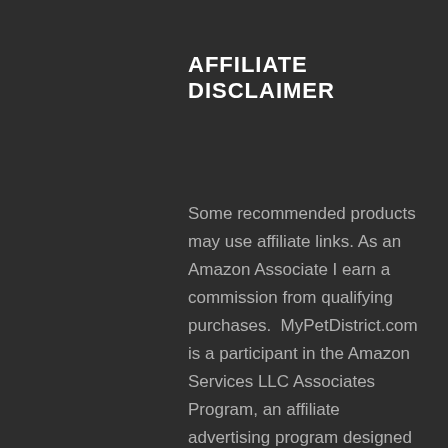AFFILIATE DISCLAIMER
Some recommended products may use affiliate links. As an Amazon Associate I earn a commission from qualifying purchases.  MyPetDistrict.com is a participant in the Amazon Services LLC Associates Program, an affiliate advertising program designed to provide a means for sites to earn advertising fees by advertising and linking to Amazon.com. Amazon and the Amazon logo are trademarks of Amazon.com, Inc or